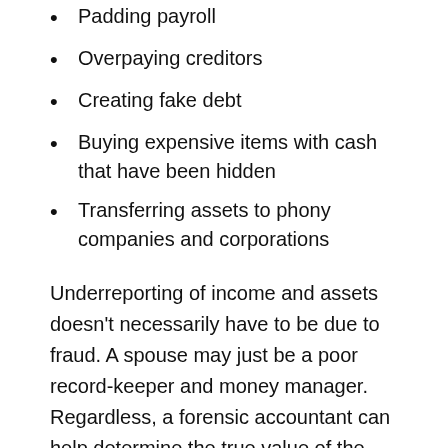Padding payroll
Overpaying creditors
Creating fake debt
Buying expensive items with cash that have been hidden
Transferring assets to phony companies and corporations
Underreporting of income and assets doesn’t necessarily have to be due to fraud. A spouse may just be a poor record-keeper and money manager. Regardless, a forensic accountant can help determine the true value of the assets you’ll be dividing. They can also help you and your attorney determine what assets you want to fight